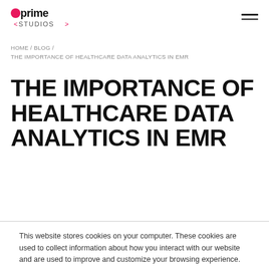optime STUDIOS [logo] [hamburger menu]
HOME / BLOG / THE IMPORTANCE OF HEALTHCARE DATA ANALYTICS IN EMR
THE IMPORTANCE OF HEALTHCARE DATA ANALYTICS IN EMR
This website stores cookies on your computer. These cookies are used to collect information about how you interact with our website and are used to improve and customize your browsing experience.
Accept